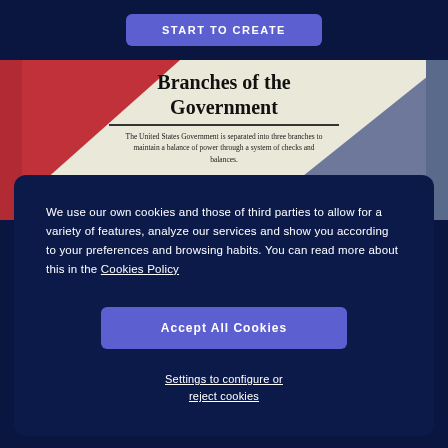START TO CREATE
[Figure (infographic): Partial view of a 'Branches of the Government' infographic with red and blue triangles on a cream background, bold serif title text and a brief description paragraph.]
Branches of the Government
The United States Government is separated into three branches to maintain a balance of power through a system of checks and balances.
We use our own cookies and those of third parties to allow for a variety of features, analyze our services and show you according to your preferences and browsing habits. You can read more about this in the Cookies Policy
Accept All Cookies
Settings to configure or reject cookies